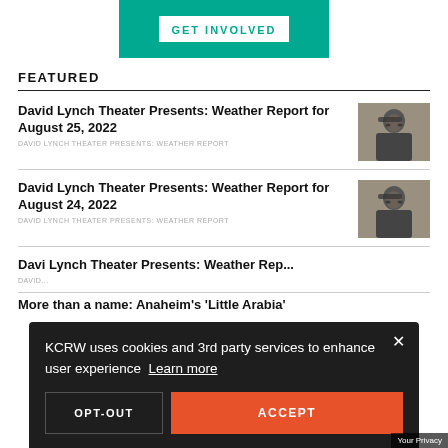[Figure (other): Green teal banner/button with white text reading GET INVOLVED]
FEATURED
David Lynch Theater Presents: Weather Report for August 25, 2022
DAVID LYNCH THEATER PRESENTS: WEATHER REPORT
[Figure (photo): Black and white photo of a man in sunglasses and suit]
David Lynch Theater Presents: Weather Report for August 24, 2022
DAVID LYNCH THEATER PRESENTS: WEATHER REPORT
[Figure (photo): Black and white photo of a man in sunglasses and suit]
David Lynch Theater Presents: Weather Report for August...
More than a name: Anaheim's 'Little Arabia'
KCRW uses cookies and 3rd party services to enhance user experience  Learn more
OPT-OUT
ACCEPT
Your Privacy